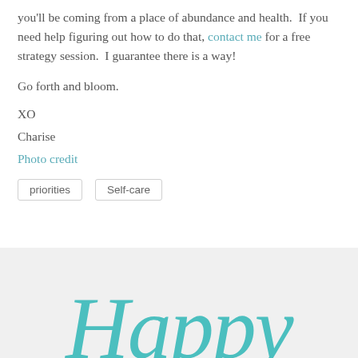you'll be coming from a place of abundance and health.  If you need help figuring out how to do that, contact me for a free strategy session.  I guarantee there is a way!
Go forth and bloom.
XO
Charise
Photo credit
priorities
Self-care
[Figure (illustration): Decorative cursive script text reading 'Happy' in teal/turquoise color, partially visible at the bottom of the page on a light gray background]